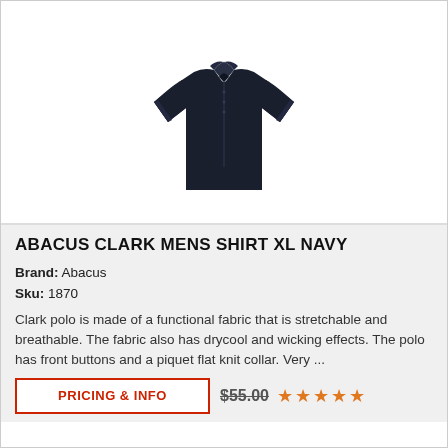[Figure (photo): Dark navy polo shirt (Abacus Clark Mens Shirt XL Navy) displayed on a white background, short sleeves, front button placket, flat knit collar.]
ABACUS CLARK MENS SHIRT XL NAVY
Brand: Abacus
Sku: 1870
Clark polo is made of a functional fabric that is stretchable and breathable. The fabric also has drycool and wicking effects. The polo has front buttons and a piquet flat knit collar. Very ...
PRICING & INFO
$55.00 ★★★★★